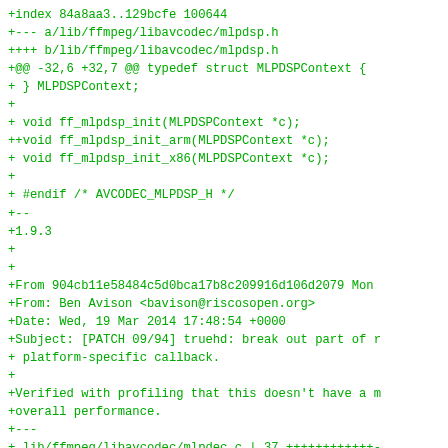+index 84a8aa3..129bcfe 100644
+--- a/lib/ffmpeg/libavcodec/mlpdsp.h
++++ b/lib/ffmpeg/libavcodec/mlpdsp.h
+@@ -32,6 +32,7 @@ typedef struct MLPDSPContext {
+ } MLPDSPContext;
+
+ void ff_mlpdsp_init(MLPDSPContext *c);
++void ff_mlpdsp_init_arm(MLPDSPContext *c);
+ void ff_mlpdsp_init_x86(MLPDSPContext *c);
+
+ #endif /* AVCODEC_MLPDSP_H */
+--
+1.9.3
+
+
+From 904cb11e58484c5d0bca17b8c209916d106d2079 Mon
+From: Ben Avison <bavison@riscosopen.org>
+Date: Wed, 19 Mar 2014 17:48:54 +0000
+Subject: [PATCH 09/94] truehd: break out part of r
+ platform-specific callback.
+
+Verified with profiling that this doesn't have a m
+overall performance.
+---
+ lib/ffmpeg/libavcodec/mlpdec.c | 37 ++++++++++++-
+ lib/ffmpeg/libavcodec/mlpdsp.c | 35 +++++++++++++
+ lib/ffmpeg/libavcodec/mlpdsp.h | 23 +++++++++++++
+ 3 files changed, 69 insertions(+), 26 deletions(-
+
+diff --git a/lib/ffmpeg/libavcodec/mlpdec.c b/lib/